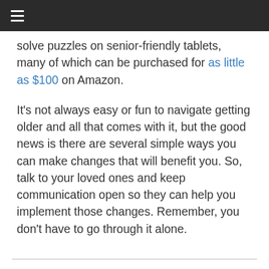≡
solve puzzles on senior-friendly tablets, many of which can be purchased for as little as $100 on Amazon.
It's not always easy or fun to navigate getting older and all that comes with it, but the good news is there are several simple ways you can make changes that will benefit you. So, talk to your loved ones and keep communication open so they can help you implement those changes. Remember, you don't have to go through it alone.